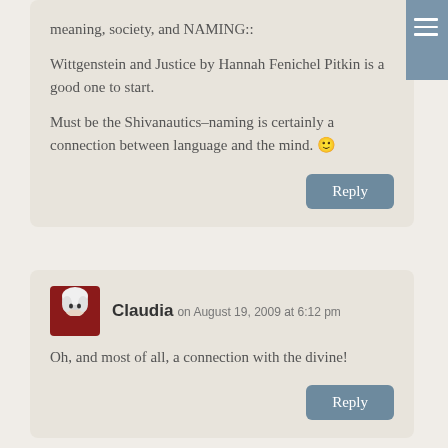meaning, society, and NAMING::
Wittgenstein and Justice by Hannah Fenichel Pitkin is a good one to start.
Must be the Shivanautics–naming is certainly a connection between language and the mind. 🙂
Reply
Claudia on August 19, 2009 at 6:12 pm
Oh, and most of all, a connection with the divine!
Reply